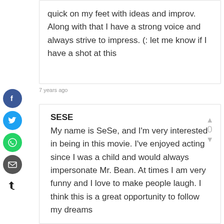quick on my feet with ideas and improv. Along with that I have a strong voice and always strive to impress. (: let me know if I have a shot at this
7 years ago
SESE
My name is SeSe, and I'm very interested in being in this movie. I've enjoyed acting since I was a child and would always impersonate Mr. Bean. At times I am very funny and I love to make people laugh. I think this is a great opportunity to follow my dreams